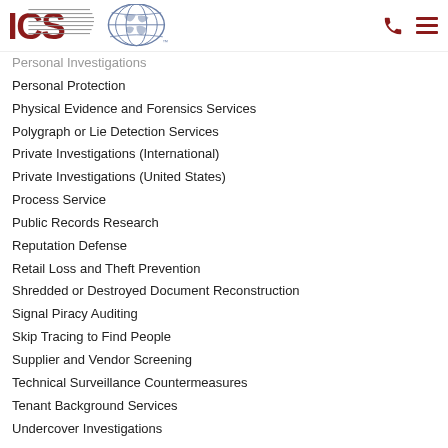ICS logo with phone and menu icons
Personal Investigations
Personal Protection
Physical Evidence and Forensics Services
Polygraph or Lie Detection Services
Private Investigations (International)
Private Investigations (United States)
Process Service
Public Records Research
Reputation Defense
Retail Loss and Theft Prevention
Shredded or Destroyed Document Reconstruction
Signal Piracy Auditing
Skip Tracing to Find People
Supplier and Vendor Screening
Technical Surveillance Countermeasures
Tenant Background Services
Undercover Investigations
Clients Serviced in Niger: